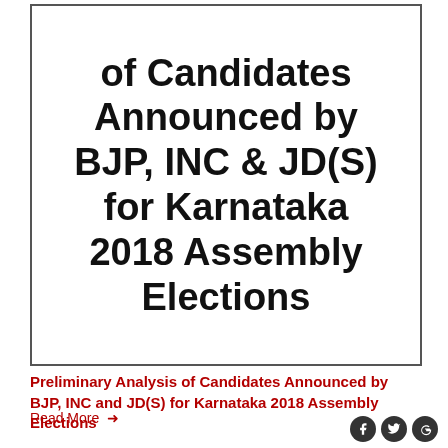[Figure (illustration): Book cover with bold title text: 'of Candidates Announced by BJP, INC & JD(S) for Karnataka 2018 Assembly Elections' inside a bordered rectangle]
Preliminary Analysis of Candidates Announced by BJP, INC and JD(S) for Karnataka 2018 Assembly Elections
Read More →